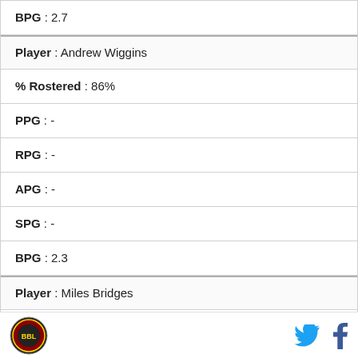| BPG : 2.7 |
| Player : Andrew Wiggins |
| % Rostered : 86% |
| PPG : - |
| RPG : - |
| APG : - |
| SPG : - |
| BPG : 2.3 |
| Player : Miles Bridges |
| % Rostered : 64% |
| PPG : - |
Logo | Twitter | Facebook